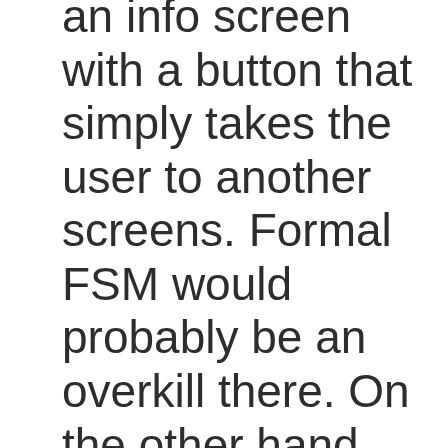an info screen with a button that simply takes the user to another screens. Formal FSM would probably be an overkill there. On the other hand, I'd consider a proper FSM for any component that has three or more states. In my experience, extracting a full formal FSM for components that have five or more states has always been a very good idea.

The general rule of thumb with FSMs is: the more states a